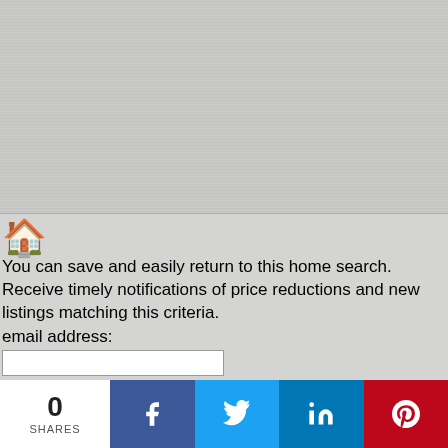[Figure (other): Gray textured background area occupying the upper portion of the page]
You can save and easily return to this home search. Receive timely notifications of price reductions and new listings matching this criteria.
email address:
[Figure (infographic): Social share bar with count 0 SHARES, Facebook, Twitter, LinkedIn, Pinterest buttons]